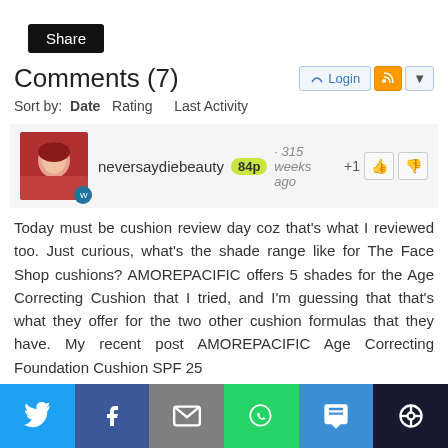[Figure (screenshot): Share button - black rounded rectangle with white 'Share' text]
Comments (7)
Sort by:  Date  Rating  Last Activity
[Figure (screenshot): Comment by neversaydiebeauty, 84p, 315 weeks ago, +1 vote with up/down buttons. User avatar shows red-haired woman.]
Today must be cushion review day coz that's what I reviewed too. Just curious, what's the shade range like for The Face Shop cushions? AMOREPACIFIC offers 5 shades for the Age Correcting Cushion that I tried, and I'm guessing that that's what they offer for the two other cushion formulas that they have. My recent post AMOREPACIFIC Age Correcting Foundation Cushion SPF 25
Reply  ▼ 1 reply · active 315 weeks ago  Report
[Figure (screenshot): Nested reply comment by all_the_words, 93p, 315 weeks ago, +1 vote with up/down buttons. Circular colorful avatar.]
[Figure (screenshot): Social sharing bar at bottom with Twitter, Facebook, Email, WhatsApp, SMS, and other sharing icons]